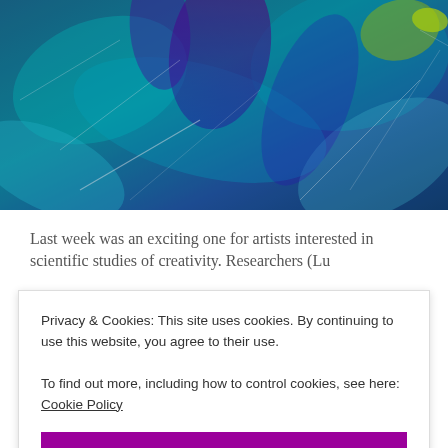[Figure (illustration): Abstract painting with swirling blue, teal, green, and purple brushstrokes creating a dynamic textured composition]
Last week was an exciting one for artists interested in scientific studies of creativity. Researchers (Lu
Privacy & Cookies: This site uses cookies. By continuing to use this website, you agree to their use.
To find out more, including how to control cookies, see here: Cookie Policy
Close and accept